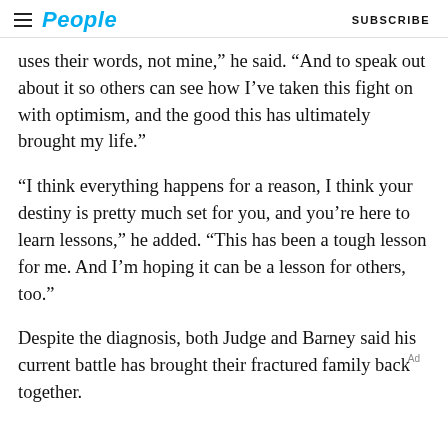People   SUBSCRIBE
uses their words, not mine,” he said. “And to speak out about it so others can see how I’ve taken this fight on with optimism, and the good this has ultimately brought my life.”
“I think everything happens for a reason, I think your destiny is pretty much set for you, and you’re here to learn lessons,” he added. “This has been a tough lesson for me. And I’m hoping it can be a lesson for others, too.”
Despite the diagnosis, both Judge and Barney said his current battle has brought their fractured family back together.